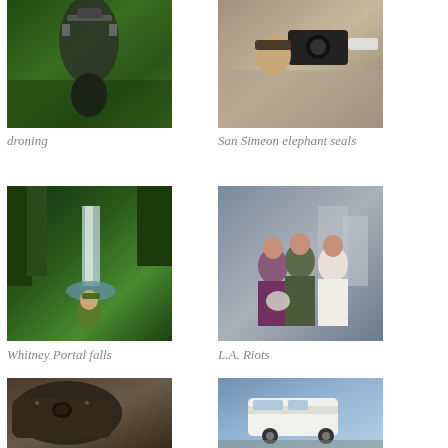[Figure (photo): Man holding a drone outdoors in a green park/garden setting]
droning
[Figure (photo): Man with hat and glasses holding a large camera with telephoto lens on a beach with sand dunes]
San Simeon elephant seals
[Figure (photo): Man in hat standing in front of a waterfall with tall trees, in a mountain forest setting]
Whitney Portal falls
[Figure (photo): A man in military camouflage fatigues posing with two women, one holding pom-poms, with military personnel and urban buildings in background]
L.A. Riots
[Figure (photo): Close-up of a large military or industrial vehicle, dark brown/grey colored]
[Figure (photo): Aerial or elevated view of a white van in a parking lot or street]